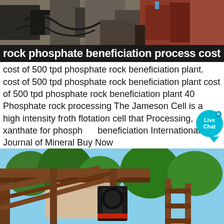[Figure (photo): Top industrial/mining equipment photo showing machinery, hoses, and metal structures with a reddish-brown industrial background]
rock phosphate beneficiation process cost
cost of 500 tpd phosphate rock beneficiation plant. cost of 500 tpd phosphate rock beneficiation plant cost of 500 tpd phosphate rock beneficiation plant 40 Phosphate rock processing The Jameson Cell is a high intensity froth flotation cell that Processing, xanthate for phosphate beneficiation International Journal of Mineral Buy Now
[Figure (photo): Bottom photo showing industrial rock crushing/processing machinery and conveyor structure outdoors with trees and sky in background]